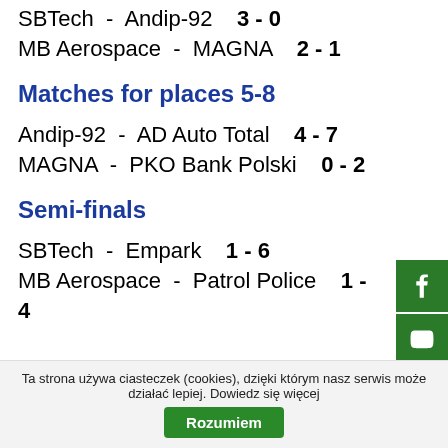SBTech - Andip-92   3 - 0
MB Aerospace - MAGNA   2 - 1
Matches for places 5-8
Andip-92 - AD Auto Total   4 - 7
MAGNA - PKO Bank Polski   0 - 2
Semi-finals
SBTech - Empark   1 - 6
MB Aerospace - Patrol Police   1 - 4
Ta strona używa ciasteczek (cookies), dzięki którym nasz serwis może działać lepiej. Dowiedz się więcej